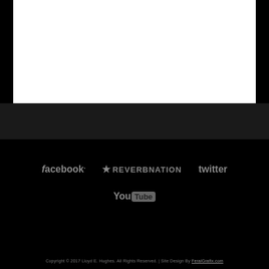[Figure (other): White content area box at top of page against dark background]
[Figure (logo): Facebook, ReverbNation, Twitter, and YouTube social media logos displayed in gray on black background]
Copyright © 2017 Lloyd E. Hughes. All Rights Reserved. | Site Design By FeralGrafix.com